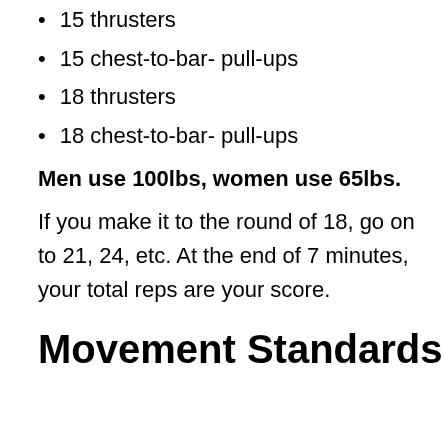15 thrusters
15 chest-to-bar- pull-ups
18 thrusters
18 chest-to-bar- pull-ups
Men use 100lbs, women use 65lbs.
If you make it to the round of 18, go on to 21, 24, etc. At the end of 7 minutes, your total reps are your score.
Movement Standards